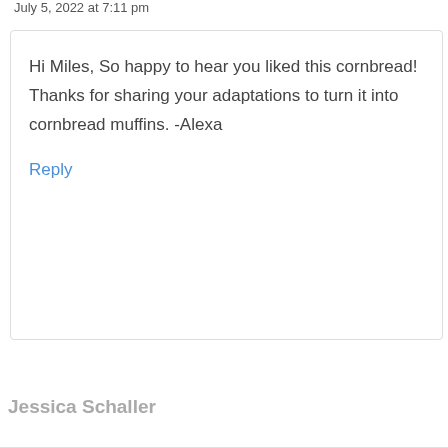July 5, 2022 at 7:11 pm
Hi Miles, So happy to hear you liked this cornbread! Thanks for sharing your adaptations to turn it into cornbread muffins. -Alexa
Reply
Jessica Schaller